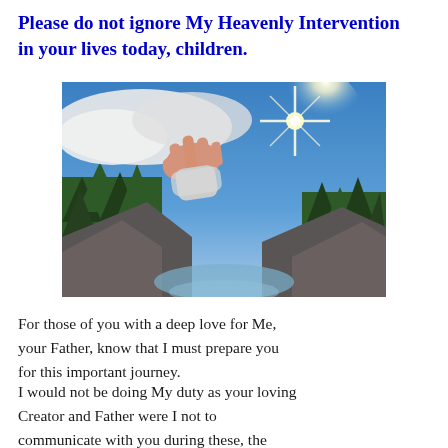Please do not ignore My Heavenly Intervention in your lives today, children.
[Figure (photo): A divine hand reaching through clouds toward a bright star, over a scenic landscape of pine trees, cliffs, and a river valley under a blue sky.]
For those of you with a deep love for Me, your Father, know that I must prepare you for this important journey.
I would not be doing My duty as your loving Creator and Father were I not to communicate with you during these, the